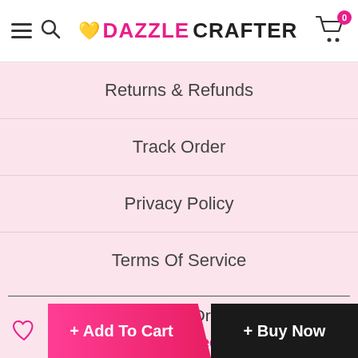DAZZLE CRAFTER
Returns & Refunds
Track Order
Privacy Policy
Terms Of Service
Got a Question? Drop in a line
support@dazzlecrafter.com
+ Add To Cart
+ Buy Now